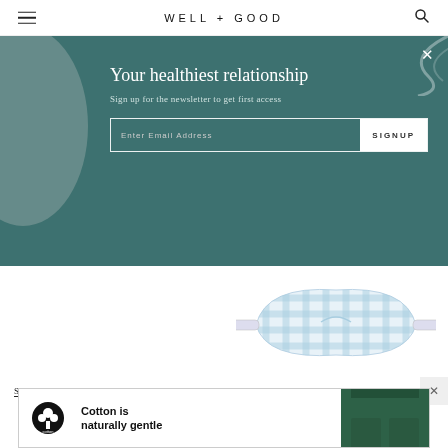WELL+GOOD
Your healthiest relationship
Sign up for the newsletter to get first access
Enter Email Address  SIGNUP
[Figure (photo): Blue and white gingham patterned sleep/eye mask with elastic band]
SerieCozy Amber Night Light
Petite Plume Eye Mask
[Figure (advertisement): Cotton advertisement banner: cotton logo on left, bold text 'Cotton is naturally gentle', green pajama pants on right]